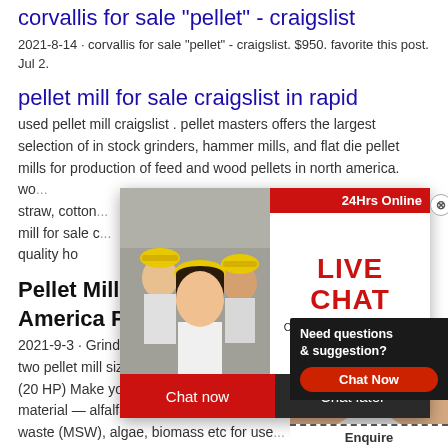corvallis for sale "pellet" - craigslist
2021-8-14 · corvallis for sale "pellet" - craigslist. $950. favorite this post. Jul 2.
pellet mill for sale craigslist in rapid
used pellet mill craigslist . pellet masters offers the largest selection of in stock grinders, hammer mills, and flat die pellet mills for production of feed and wood pellets in north america. wo... straw, cotton... mill for sale c... quality ho
[Figure (photo): Live chat popup overlay with workers in yellow hard hats on left, 'LIVE CHAT Click for a Free Consultation' text in center, close button, 'Chat now' and 'Chat later' buttons at bottom, '24Hrs Online' red banner at top right]
[Figure (photo): Customer service representative with headset smiling, with 'Need questions & suggestion? Chat Now' dark overlay panel and dashed 'Enquire' bar at bottom]
Pellet Mills For Sale - Canada, U... America Pellet ...
2021-9-3 · Grinding & Pellet Making Equ... two pellet mill sizes: HB100 7.5 kw (10 H... (20 HP) Make your own pellets from just ... material — alfalfa, hops, grass, wood, he... waste (MSW), algae, biomass etc for use...